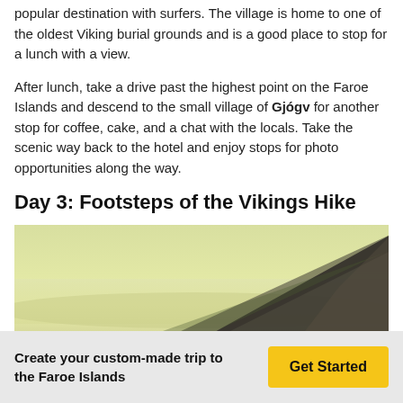popular destination with surfers. The village is home to one of the oldest Viking burial grounds and is a good place to stop for a lunch with a view.
After lunch, take a drive past the highest point on the Faroe Islands and descend to the small village of Gjógv for another stop for coffee, cake, and a chat with the locals. Take the scenic way back to the hotel and enjoy stops for photo opportunities along the way.
Day 3: Footsteps of the Vikings Hike
[Figure (photo): A dramatic rocky mountain peak rising from a misty, pale yellow-green landscape with overcast sky — scenic Faroe Islands scenery.]
Create your custom-made trip to the Faroe Islands